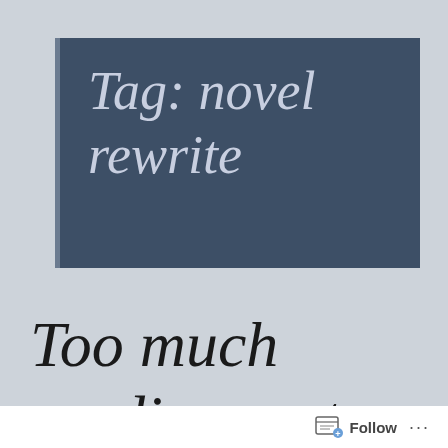Tag: novel rewrite
Too much reading, not
Follow ...